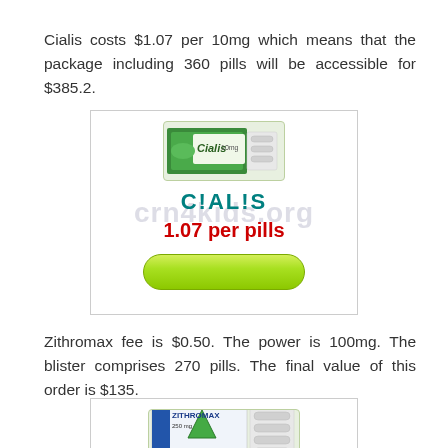Cialis costs $1.07 per 10mg which means that the package including 360 pills will be accessible for $385.2.
[Figure (illustration): Cialis product box with brand logo and price label '1.07 per pills' and a green buy button, overlaid with watermark text 'crn4kids.org']
Zithromax fee is $0.50. The power is 100mg. The blister comprises 270 pills. The final value of this order is $135.
[Figure (illustration): Zithromax product box with blister pack of pills shown at bottom of page]